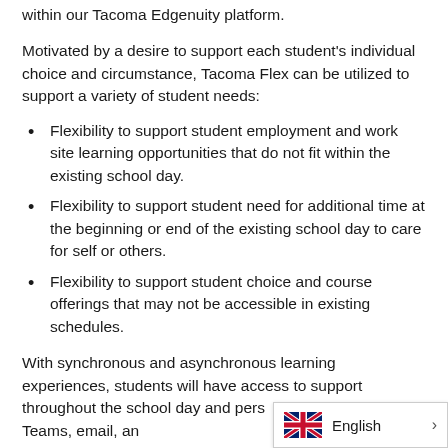within our Tacoma Edgenuity platform.
Motivated by a desire to support each student's individual choice and circumstance, Tacoma Flex can be utilized to support a variety of student needs:
Flexibility to support student employment and work site learning opportunities that do not fit within the existing school day.
Flexibility to support student need for additional time at the beginning or end of the existing school day to care for self or others.
Flexibility to support student choice and course offerings that may not be accessible in existing schedules.
With synchronous and asynchronous learning experiences, students will have access to support throughout the school day and perso... through Microsoft Teams, email, and...